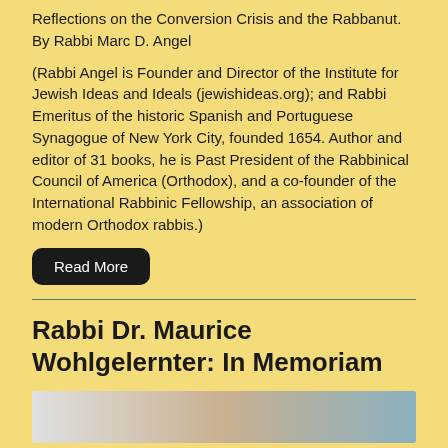Reflections on the Conversion Crisis and the Rabbanut.
By Rabbi Marc D. Angel
(Rabbi Angel is Founder and Director of the Institute for Jewish Ideas and Ideals (jewishideas.org); and Rabbi Emeritus of the historic Spanish and Portuguese Synagogue of New York City, founded 1654. Author and editor of 31 books, he is Past President of the Rabbinical Council of America (Orthodox), and a co-founder of the International Rabbinic Fellowship, an association of modern Orthodox rabbis.)
Read More
Rabbi Dr. Maurice Wohlgelernter: In Memoriam
[Figure (photo): Partial image visible at bottom of page, appears to be a landscape or portrait photo with light gradient colors]